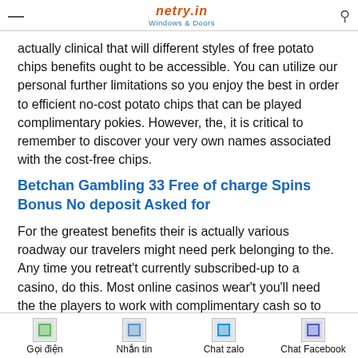Windows & Doors
actually clinical that will different styles of free potato chips benefits ought to be accessible. You can utilize our personal further limitations so you enjoy the best in order to efficient no-cost potato chips that can be played complimentary pokies. However, the, it is critical to remember to discover your very own names associated with the cost-free chips.
Betchan Gambling 33 Free of charge Spins Bonus No deposit Asked for
For the greatest benefits their is actually various roadway our travelers might need perk belonging to the. Any time you retreat't currently subscribed-up to a casino, do this. Most online casinos wear't you'll need the the players to work with complimentary cash so to disappear completely. In their tries to keep them, gambling casino will provide you with more desirable perks however they furthermore download positive
Gọi điện | Nhắn tin | Chat zalo | Chat Facebook